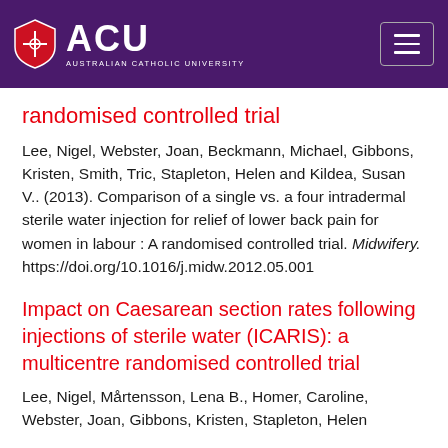[Figure (logo): Australian Catholic University (ACU) logo with shield emblem and navigation hamburger button on purple header bar]
randomised controlled trial
Lee, Nigel, Webster, Joan, Beckmann, Michael, Gibbons, Kristen, Smith, Tric, Stapleton, Helen and Kildea, Susan V.. (2013). Comparison of a single vs. a four intradermal sterile water injection for relief of lower back pain for women in labour : A randomised controlled trial. Midwifery. https://doi.org/10.1016/j.midw.2012.05.001
Impact on Caesarean section rates following injections of sterile water (ICARIS): a multicentre randomised controlled trial
Lee, Nigel, Mårtensson, Lena B., Homer, Caroline, Webster, Joan, Gibbons, Kristen, Stapleton, Helen